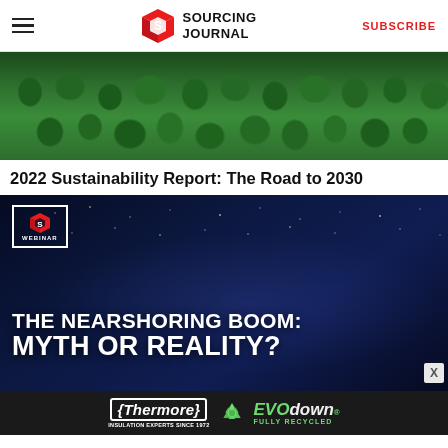Sourcing Journal — SUBSCRIBE
[Figure (photo): Aerial view of a dense green forest canopy]
2022 Sustainability Report: The Road to 2030
[Figure (photo): Webinar promo image: nighttime satellite view of North America with city lights. Text overlay reads: THE NEARSHORING BOOM: MYTH OR REALITY? with Sourcing Journal WEBINAR badge in the top-left corner.]
[Figure (logo): Thermore Insulation Experts Since 1972 — EVO down FULLY RECYCLED advertisement banner]